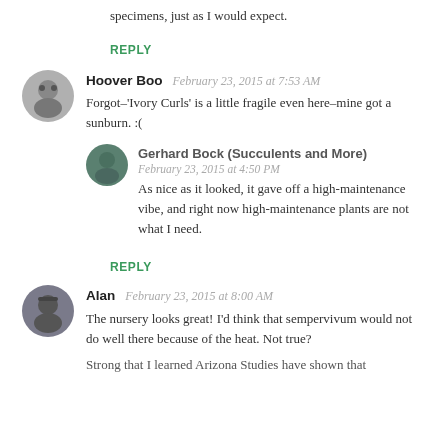specimens, just as I would expect.
REPLY
Hoover Boo  February 23, 2015 at 7:53 AM
Forgot–-'Ivory Curls' is a little fragile even here–-mine got a sunburn. :(
Gerhard Bock (Succulents and More)  February 23, 2015 at 4:50 PM
As nice as it looked, it gave off a high-maintenance vibe, and right now high-maintenance plants are not what I need.
REPLY
Alan  February 23, 2015 at 8:00 AM
The nursery looks great! I'd think that sempervivum would not do well there because of the heat. Not true?
Strong that I learned Arizona Studies have shown that